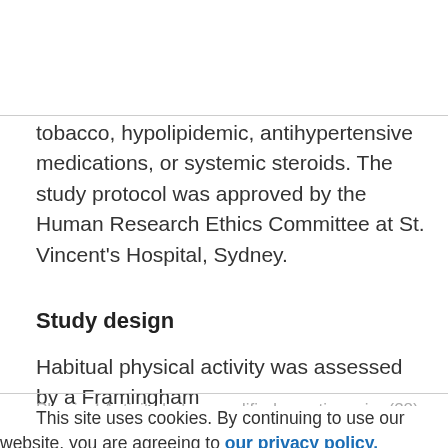tobacco, hypolipidemic, antihypertensive medications, or systemic steroids. The study protocol was approved by the Human Research Ethics Committee at St. Vincent's Hospital, Sydney.
Study design
Habitual physical activity was assessed by a Framingham Physical Activity Index–modified questionnaire (28) and aerobic capacity assessed at the first visit (week −1). Measurements of insulin action, substrate oxidation, body composition and abdominal fat, and muscle and serum
This site uses cookies. By continuing to use our website, you are agreeing to our privacy policy. Accept